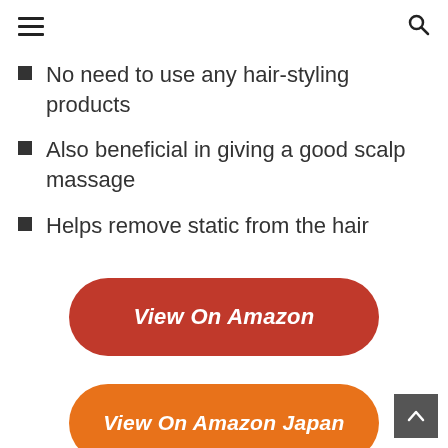Menu / Search
No need to use any hair-styling products
Also beneficial in giving a good scalp massage
Helps remove static from the hair
View On Amazon
View On Amazon Japan